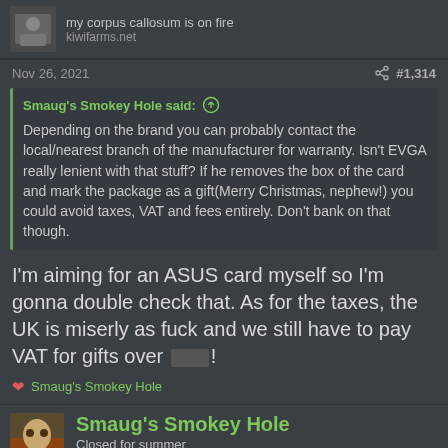my corpus callosum is on fire
kiwifarms.net
Nov 26, 2021   #1,314
Smaug's Smokey Hole said: Depending on the brand you can probably contact the local/nearest branch of the manufacturer for warranty. Isn't EVGA really lenient with that stuff? If he removes the box of the card and mark the package as a gift(Merry Christmas, nephew!) you could avoid taxes, VAT and fees entirely. Don't bank on that though.
I'm aiming for an ASUS card myself so I'm gonna double check that. As for the taxes, the UK is miserly as fuck and we still have to pay VAT for gifts over [redacted]!
❤ Smaug's Smokey Hole
Smaug's Smokey Hole
Closed for summer
kiwifarms.net